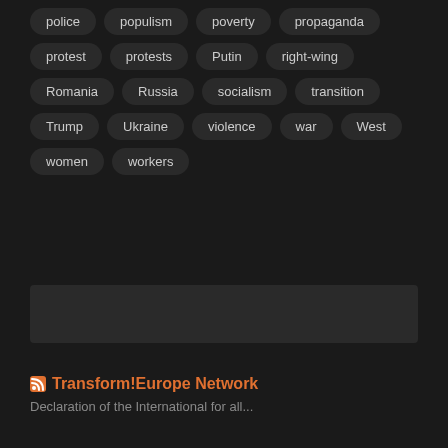police
populism
poverty
propaganda
protest
protests
Putin
right-wing
Romania
Russia
socialism
transition
Trump
Ukraine
violence
war
West
women
workers
Transform!Europe Network
Declaration of the International for all...